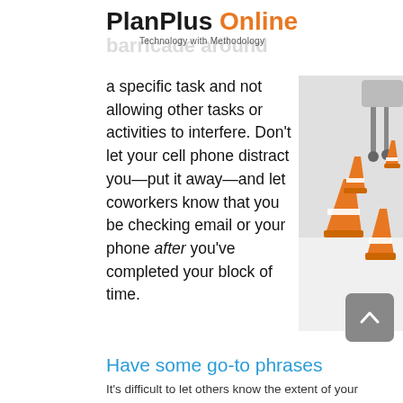PlanPlus Online — Technology with Methodology
[Figure (photo): Several orange traffic cones arranged on a white floor near office chairs, illustrating the concept of blocking time/creating a barricade.]
a specific task and not allowing other tasks or activities to interfere. Don't let your cell phone distract you—put it away—and let coworkers know that you be checking email or your phone after you've completed your block of time.
Have some go-to phrases
It's difficult to let others know the extent of your